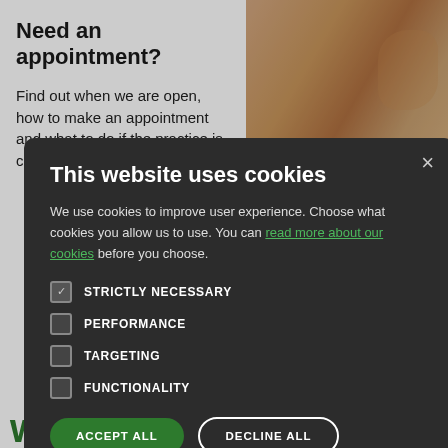Need an appointment?
Find out when we are open, how to make an appointment and what to do if the practice is closed.
[Figure (photo): Close-up photo of elderly hands clasped together]
levels of staff sickness telephone calls.  Pl If your medical nee
- see link below and
with LIVI.
weekend
This website uses cookies
We use cookies to improve user experience. Choose what cookies you allow us to use. You can read more about our cookies before you choose.
STRICTLY NECESSARY
PERFORMANCE
TARGETING
FUNCTIONALITY